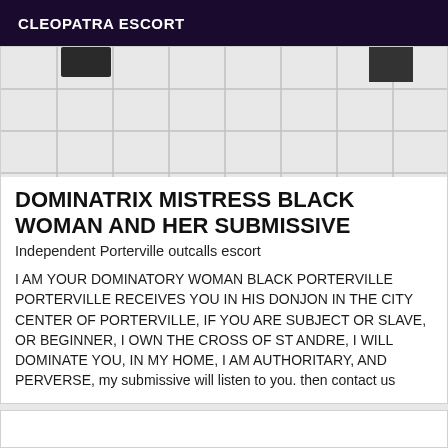CLEOPATRA ESCORT
[Figure (photo): Partial view of a tiled floor with white/light grey square tiles, dark objects visible at top of frame]
DOMINATRIX MISTRESS BLACK WOMAN AND HER SUBMISSIVE
Independent Porterville outcalls escort
I AM YOUR DOMINATORY WOMAN BLACK PORTERVILLE PORTERVILLE RECEIVES YOU IN HIS DONJON IN THE CITY CENTER OF PORTERVILLE, IF YOU ARE SUBJECT OR SLAVE, OR BEGINNER, I OWN THE CROSS OF ST ANDRE, I WILL DOMINATE YOU, IN MY HOME, I AM AUTHORITARY, AND PERVERSE, my submissive will listen to you. then contact us